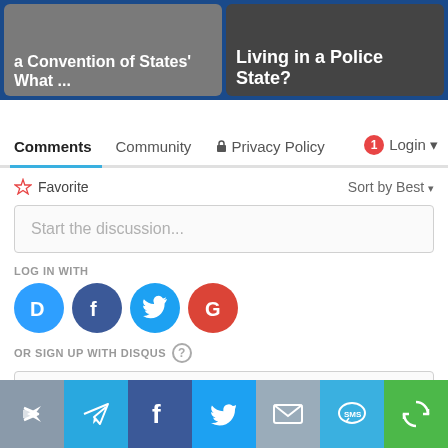[Figure (screenshot): Two thumbnail images side by side: left shows text 'a Convention of States' What ...' on gray background; right shows text 'Living in a Police State?' on dark photo background]
Comments   Community   🔒 Privacy Policy   1  Login ▾
♡ Favorite   Sort by Best ▾
Start the discussion...
LOG IN WITH
[Figure (infographic): Social login icons: Disqus (blue D), Facebook (dark blue f), Twitter (light blue bird), Google (red G)]
OR SIGN UP WITH DISQUS ?
Name
[Figure (infographic): Bottom share bar with icons: share/forward (gray), Telegram send (blue), Facebook f (dark blue), Twitter bird (light blue), Email envelope (gray-blue), SMS bubble (cyan), more/rotate (green)]